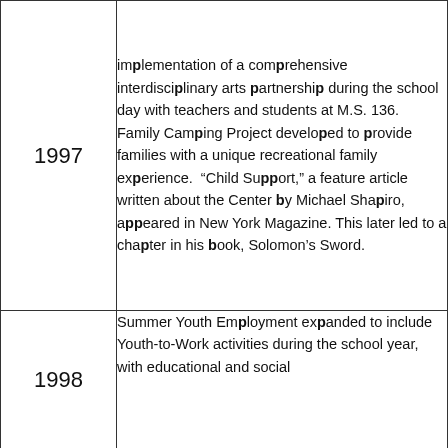| Year | Description |
| --- | --- |
| 1997 | implementation of a comprehensive interdisciplinary arts partnership during the school day with teachers and students at M.S. 136.   Family Camping Project developed to provide families with a unique recreational family experience.  "Child Support," a feature article written about the Center by Michael Shapiro, appeared in New York Magazine. This later led to a chapter in his book, Solomon’s Sword. |
| 1998 | Summer Youth Employment expanded to include Youth-to-Work activities during the school year, with educational and social |